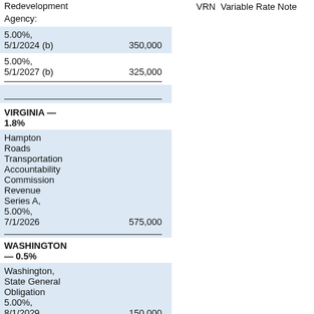Redevelopment Agency:
| 5.00%, 5/1/2024 (b) | 350,000 |
| 5.00%, 5/1/2027 (b) | 325,000 |
VIRGINIA — 1.8%
| Hampton Roads Transportation Accountability Commission Revenue Series A, 5.00%, 7/1/2026 | 575,000 |
WASHINGTON — 0.5%
| Washington, State General Obligation 5.00%, 8/1/2029 | 150,000 |
WISCONSIN — 4.2%
VRN  Variable Rate Note